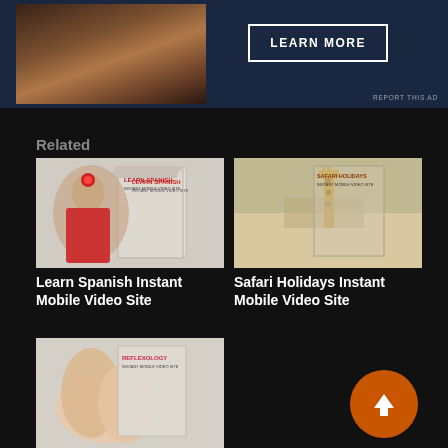[Figure (photo): Advertisement banner with dark blue background, photo of person on left, and LEARN MORE button on right, with REPORT THIS AD text at bottom right]
Related
[Figure (photo): Learn Spanish Instant Mobile Video Site product box image showing a woman in Spanish dress dancing]
Learn Spanish Instant Mobile Video Site
[Figure (photo): Safari Holidays Instant Mobile Video Site product box image showing giraffes on safari]
Safari Holidays Instant Mobile Video Site
[Figure (photo): Reflexology Instant Mobile Video Site product box image showing hands performing reflexology]
Reflexology Instant Mobile Video Site